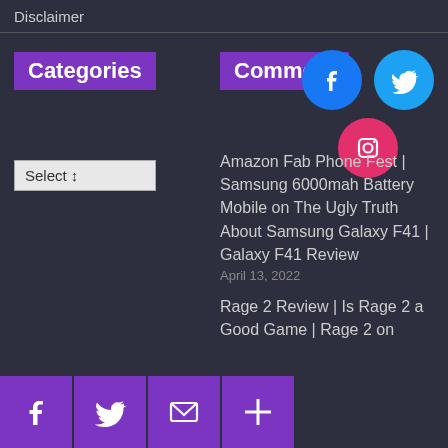Disclaimer
Categories
Comment
[Figure (infographic): Facebook (blue circle), Twitter (light blue circle), and Instagram (red circle) social media icons arranged in two rows on dark background]
Select ↕
Amazon Fab Phone Fest | Samsung 6000mah Battery Mobile on The Ugly Truth About Samsung Galaxy F41 | Galaxy F41 Review
April 13, 2022
Rage 2 Review | Is Rage 2 a Good Game | Rage 2 on
[Figure (infographic): Bottom social sharing bar with Facebook, Twitter, email, and plus buttons in purple squares]